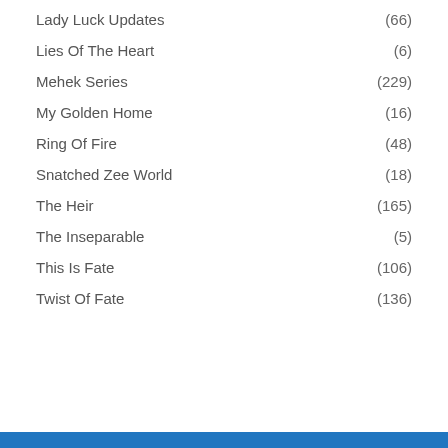Lady Luck Updates (66)
Lies Of The Heart (6)
Mehek Series (229)
My Golden Home (16)
Ring Of Fire (48)
Snatched Zee World (18)
The Heir (165)
The Inseparable (5)
This Is Fate (106)
Twist Of Fate (136)